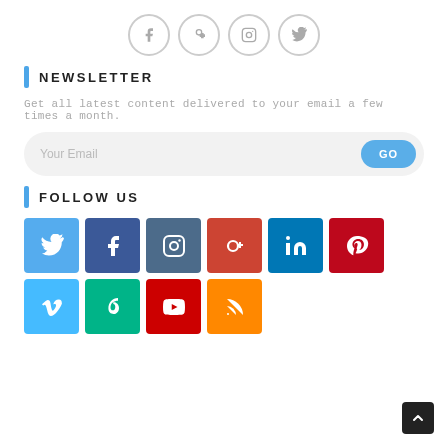[Figure (illustration): Four social media icon circles: Facebook, Google+, Instagram, Twitter — outlined grey circles with grey icons]
NEWSLETTER
Get all latest content delivered to your email a few times a month.
[Figure (illustration): Email subscription form with placeholder 'Your Email' and a blue 'GO' button on the right, inside a light grey pill-shaped box]
FOLLOW US
[Figure (illustration): Grid of social media colored tiles: Twitter (light blue), Facebook (dark blue), Instagram (slate blue), Google+ (red-orange), LinkedIn (blue), Pinterest (dark red) in row 1; Vimeo (sky blue), Vine (green), YouTube (red), RSS (orange) in row 2]